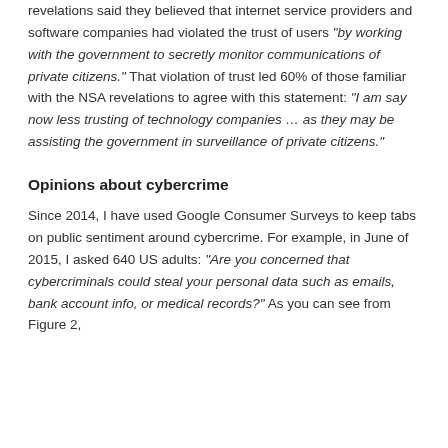revelations said they believed that internet service providers and software companies had violated the trust of users "by working with the government to secretly monitor communications of private citizens." That violation of trust led 60% of those familiar with the NSA revelations to agree with this statement: "I am say now less trusting of technology companies … as they may be assisting the government in surveillance of private citizens."
Opinions about cybercrime
Since 2014, I have used Google Consumer Surveys to keep tabs on public sentiment around cybercrime. For example, in June of 2015, I asked 640 US adults: "Are you concerned that cybercriminals could steal your personal data such as emails, bank account info, or medical records?" As you can see from Figure 2,